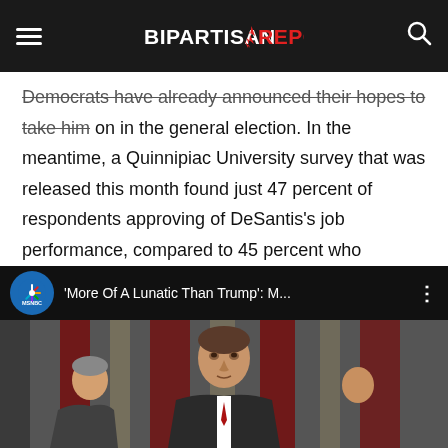BIPARTISAN REPORT
Democrats have already announced their hopes to take him on in the general election. In the meantime, a Quinnipiac University survey that was released this month found just 47 percent of respondents approving of DeSantis's job performance, compared to 45 percent who disapproved. A recent St. Pete Polls survey found DeSantis's job approval level at just 43 percent, with a full 48 percent disapproving.
[Figure (screenshot): MSNBC YouTube video thumbnail showing 'More Of A Lunatic Than Trump': M... with a person standing in front of an American flag in the background]